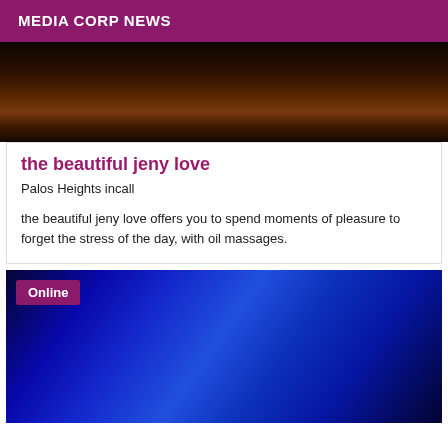MEDIA CORP NEWS
[Figure (photo): Dark brownish-black image, appears to be a dimly lit photograph]
the beautiful jeny love
Palos Heights incall
the beautiful jeny love offers you to spend moments of pleasure to forget the stress of the day, with oil massages.
[Figure (photo): Blue-toned photograph with fabric or hair in blue lighting, with an 'Online' badge overlay]